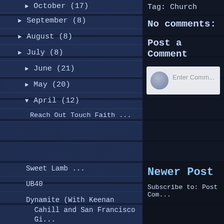October (17)
September (8)
August (8)
July (8)
June (21)
May (20)
April (12)
Reach Out Touch Faith ...
Tag: Church
No comments:
Post a Comment
Enter Comm...
Sweet Lamb ...
UB40
Dynamite (With Keenan Cahill and San Francisco Gi...
Ohmigod You Guys ...
Newer Post
Subscribe to: Post Com...